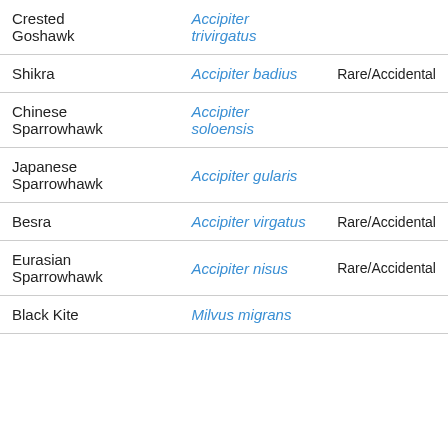| Common Name | Scientific Name | Status |
| --- | --- | --- |
| Crested Goshawk | Accipiter trivirgatus |  |
| Shikra | Accipiter badius | Rare/Accidental |
| Chinese Sparrowhawk | Accipiter soloensis |  |
| Japanese Sparrowhawk | Accipiter gularis |  |
| Besra | Accipiter virgatus | Rare/Accidental |
| Eurasian Sparrowhawk | Accipiter nisus | Rare/Accidental |
| Black Kite | Milvus migrans |  |